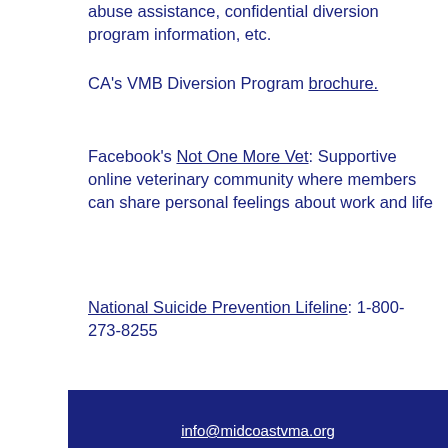abuse assistance, confidential diversion program information, etc.
CA's VMB Diversion Program brochure.
Facebook's Not One More Vet: Supportive online veterinary community where members can share personal feelings about work and life
National Suicide Prevention Lifeline: 1-800-273-8255
info@midcoastvma.org
P.O. Box 925
Pismo Beach, CA 93448